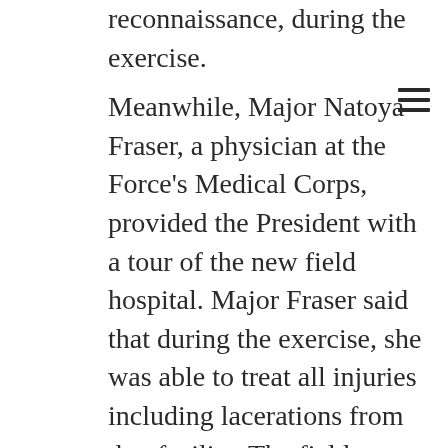reconnaissance, during the exercise.
Meanwhile, Major Natoya Fraser, a physician at the Force's Medical Corps, provided the President with a tour of the new field hospital. Major Fraser said that during the exercise, she was able to treat all injuries including lacerations from that facility. The field hospital also boasts a well-equipped dentistry, which can provide services such as the extraction, cleaning and filling of teeth. Further, the President was able to take a first-hand look, at new types of combat and operation meals, which are now, for the most part produced in Guyana, using local food items.
Minister Harmon, who serves as the Secretary to the Defence Board explained that this year, the Army has been better equipped as the Government is working with local and international partners to